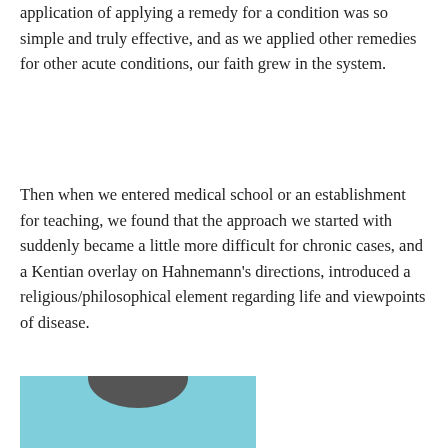application of applying a remedy for a condition was so simple and truly effective, and as we applied other remedies for other acute conditions, our faith grew in the system.
Then when we entered medical school or an establishment for teaching, we found that the approach we started with suddenly became a little more difficult for chronic cases, and a Kentian overlay on Hahnemann's directions, introduced a religious/philosophical element regarding life and viewpoints of disease.
[Figure (photo): Portrait photo of a person against a teal/light blue background, cropped at bottom of page showing head and upper body.]